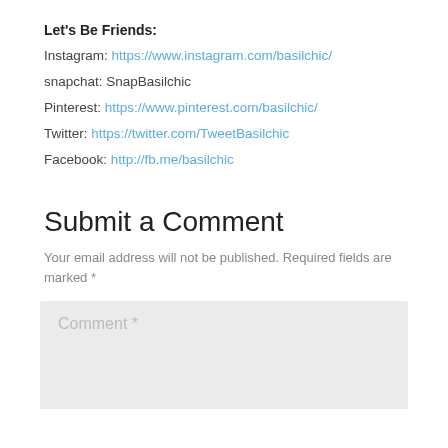Let's Be Friends:
Instagram: https://www.instagram.com/basilchic/
snapchat: SnapBasilchic
Pinterest: https://www.pinterest.com/basilchic/
Twitter: https://twitter.com/TweetBasilchic
Facebook: http://fb.me/basilchic
Submit a Comment
Your email address will not be published. Required fields are marked *
Comment *